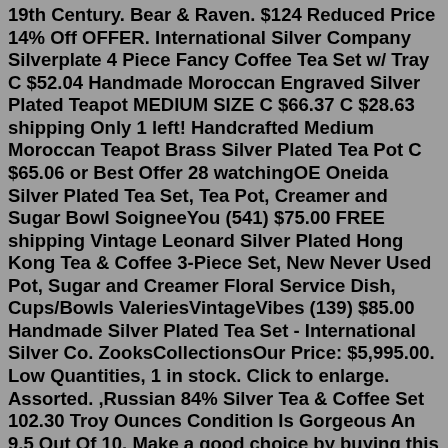19th Century. Bear & Raven. $124 Reduced Price 14% Off OFFER. International Silver Company Silverplate 4 Piece Fancy Coffee Tea Set w/ Tray C $52.04 Handmade Moroccan Engraved Silver Plated Teapot MEDIUM SIZE C $66.37 C $28.63 shipping Only 1 left! Handcrafted Medium Moroccan Teapot Brass Silver Plated Tea Pot C $65.06 or Best Offer 28 watchingOE Oneida Silver Plated Tea Set, Tea Pot, Creamer and Sugar Bowl SoigneeYou (541) $75.00 FREE shipping Vintage Leonard Silver Plated Hong Kong Tea & Coffee 3-Piece Set, New Never Used Pot, Sugar and Creamer Floral Service Dish, Cups/Bowls ValeriesVintageVibes (139) $85.00 Handmade Silver Plated Tea Set - International Silver Co. ZooksCollectionsOur Price: $5,995.00. Low Quantities, 1 in stock. Click to enlarge. Assorted. ,Russian 84% Silver Tea & Coffee Set 102.30 Troy Ounces Condition Is Gorgeous An 9.5 Out Of 10. Make a good choice by buying this item from The Silver Queen Inc. since 1972. This is an odd ball item.